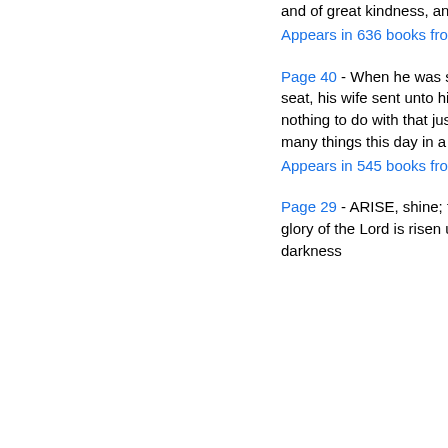and of great kindness, and repenteth him of the evil.
Appears in 636 books from 1802-2008
Page 40 - When he was set down on the judgment seat, his wife sent unto him, saying, Have thou nothing to do with that just man : for I have suffered many things this day in a dream because of him.
Appears in 545 books from 1755-2008
Page 29 - ARISE, shine; for thy light is come, And the glory of the Lord is risen upon thee. For, behold, the darkness